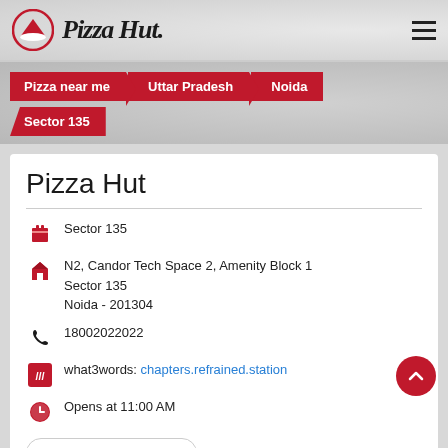[Figure (logo): Pizza Hut logo with red circle and hat icon, brand name in italic script]
Pizza near me
Uttar Pradesh
Noida
Sector 135
Pizza Hut
Sector 135
N2, Candor Tech Space 2, Amenity Block 1
Sector 135
Noida - 201304
18002022022
what3words: chapters.refrained.station
Opens at 11:00 AM
fssai 12717055001135
UBER IT TO PIZZA HUT